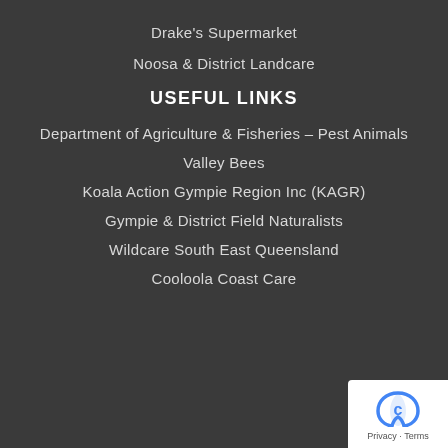Drake's Supermarket
Noosa & District Landcare
USEFUL LINKS
Department of Agriculture & Fisheries – Pest Animals
Valley Bees
Koala Action Gympie Region Inc (KAGR)
Gympie & District Field Naturalists
Wildcare South East Queensland
Cooloola Coast Care